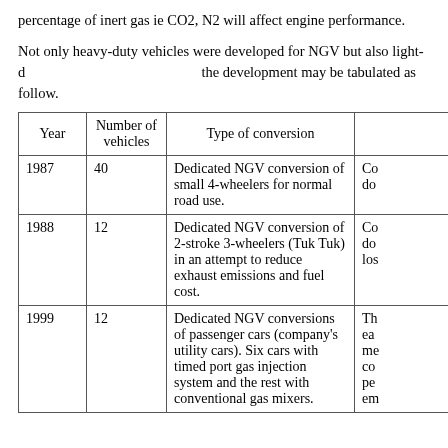percentage of inert gas ie CO2, N2 will affect engine performance.
Not only heavy-duty vehicles were developed for NGV but also light-duty vehicles. The summary of the development may be tabulated as follow.
| Year | Number of vehicles | Type of conversion |  |
| --- | --- | --- | --- |
| 1987 | 40 | Dedicated NGV conversion of small 4-wheelers for normal road use. | Co do |
| 1988 | 12 | Dedicated NGV conversion of 2-stroke 3-wheelers (Tuk Tuk) in an attempt to reduce exhaust emissions and fuel cost. | Co do los |
| 1999 | 12 | Dedicated NGV conversions of passenger cars (company's utility cars). Six cars with timed port gas injection system and the rest with conventional gas mixers. | Th ea me co pe em |